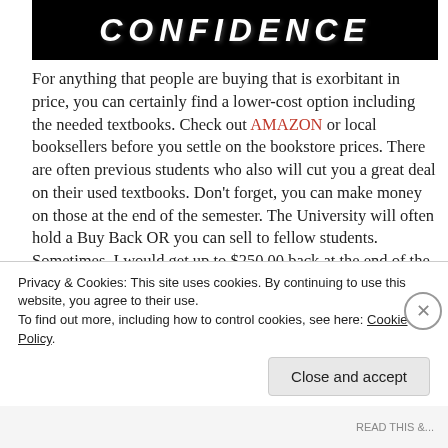[Figure (illustration): Book cover partial showing title text 'CONFIDENCE' on dark/black background]
For anything that people are buying that is exorbitant in price, you can certainly find a lower-cost option including the needed textbooks. Check out AMAZON or local booksellers before you settle on the bookstore prices. There are often previous students who also will cut you a great deal on their used textbooks. Don't forget, you can make money on those at the end of the semester. The University will often hold a Buy Back OR you can sell to fellow students. Sometimes, I would get up to $250.00 back at the end of the semester. Granted that was certainly not
Privacy & Cookies: This site uses cookies. By continuing to use this website, you agree to their use.
To find out more, including how to control cookies, see here: Cookie Policy
Close and accept